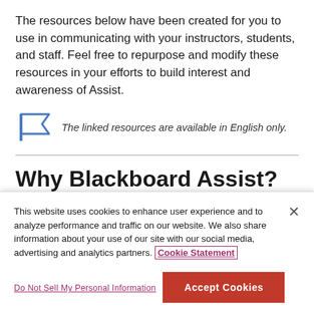The resources below have been created for you to use in communicating with your instructors, students, and staff. Feel free to repurpose and modify these resources in your efforts to build interest and awareness of Assist.
The linked resources are available in English only.
Why Blackboard Assist?
This website uses cookies to enhance user experience and to analyze performance and traffic on our website. We also share information about your use of our site with our social media, advertising and analytics partners. Cookie Statement
Do Not Sell My Personal Information
Accept Cookies